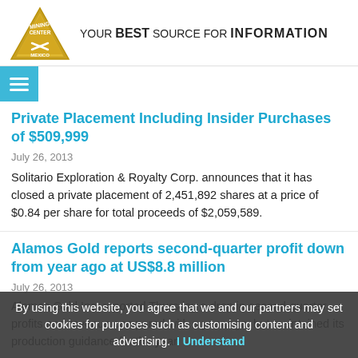[Figure (logo): Mining Center Mexico logo - gold triangle with text, tagline: YOUR BEST SOURCE FOR INFORMATION]
Private Placement Including Insider Purchases of $509,999
July 26, 2013
Solitario Exploration & Royalty Corp. announces that it has closed a private placement of 2,451,892 shares at a price of $0.84 per share for total proceeds of $2,059,589.
Alamos Gold reports second-quarter profit down from year ago at US$8.8 million
July 26, 2013
Alamos Gold Inc. reported Thursday a drop in second-quarter profits and revenue compared with a year ago, but maintained its production guidance for the year.
By using this website, you agree that we and our partners may set cookies for purposes such as customising content and advertising.  I Understand